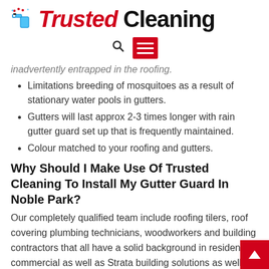[Figure (logo): Trusted Cleaning logo with spray bottle icon, 'Trusted' in red italic and 'Cleaning' in black bold]
[Figure (infographic): Navigation bar with search icon and red hamburger menu button]
inadvertently entrapped in the roofing.
Limitations breeding of mosquitoes as a result of stationary water pools in gutters.
Gutters will last approx 2-3 times longer with rain gutter guard set up that is frequently maintained.
Colour matched to your roofing and gutters.
Why Should I Make Use Of Trusted Cleaning To Install My Gutter Guard In Noble Park?
Our completely qualified team include roofing tilers, roof covering plumbing technicians, woodworkers and building contractors that all have a solid background in residential, commercial as well as Strata building solutions as well as